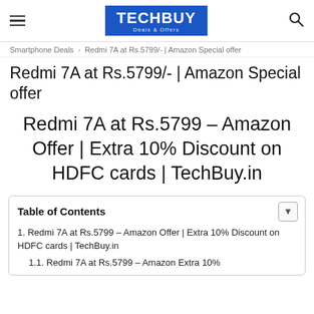TECHBUY Deals & Offers
Smartphone Deals › Redmi 7A at Rs.5799/- | Amazon Special offer
Redmi 7A at Rs.5799/- | Amazon Special offer
Redmi 7A at Rs.5799 – Amazon Offer | Extra 10% Discount on HDFC cards | TechBuy.in
Table of Contents
1. Redmi 7A at Rs.5799 – Amazon Offer | Extra 10% Discount on HDFC cards | TechBuy.in
  1.1. Redmi 7A at Rs.5799 – Amazon Extra 10%